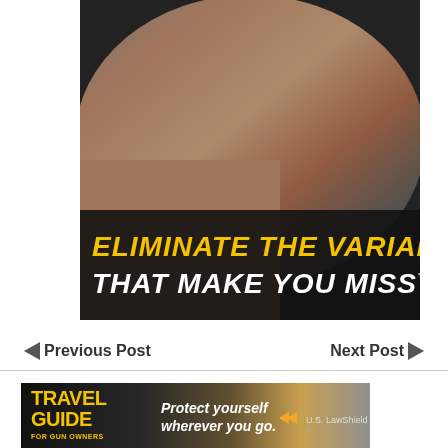[Figure (photo): A man aiming a firearm (camo-patterned rifle), close-up shot. Bottom portion of image has dark background with text overlay reading 'ELIMINATE THE VARIABLES THAT MAKE YOU MISS™' in yellow and white italic bold uppercase font.]
◄ Previous Post
Next Post ►
[Figure (advertisement): Advertisement banner for 'Travel Guide for Gun Owners' by U.S. LawShield. Text reads 'Protect yourself wherever you go.' with orange play arrows.]